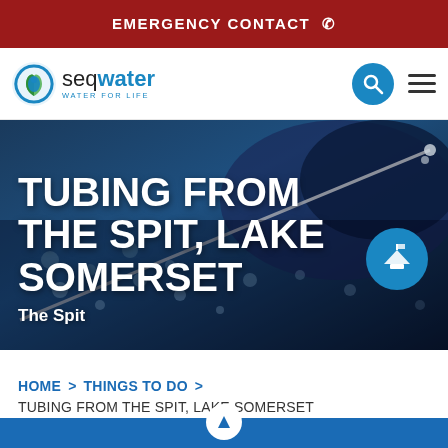EMERGENCY CONTACT
[Figure (logo): Seqwater logo - circular blue water droplet icon with text 'seqwater WATER FOR LIFE']
[Figure (photo): Action photo of person tubing on water, water splashing, blue tones. Hero image for Tubing from the Spit, Lake Somerset page.]
TUBING FROM THE SPIT, LAKE SOMERSET
The Spit
HOME > THINGS TO DO > TUBING FROM THE SPIT, LAKE SOMERSET